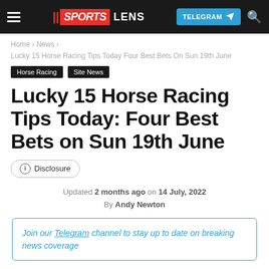SPORTS LENS | TELEGRAM
Home › News › Lucky 15 Horse Racing Tips Today Four Best Bets On Sun 19th June
Horse Racing
Site News
Lucky 15 Horse Racing Tips Today: Four Best Bets on Sun 19th June
ⓘ Disclosure
Updated 2 months ago on 14 July, 2022
By Andy Newton
Join our Telegram channel to stay up to date on breaking news coverage